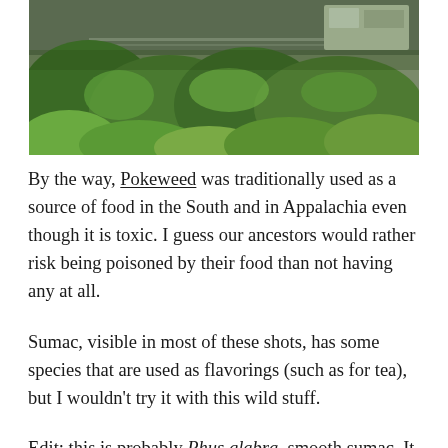[Figure (photo): Photograph of dense green leafy plants including pokeweed and sumac growing alongside railroad tracks, with a train or rail vehicle visible in the upper right background.]
By the way, Pokeweed was traditionally used as a source of food in the South and in Appalachia even though it is toxic. I guess our ancestors would rather risk being poisoned by their food than not having any at all.
Sumac, visible in most of these shots, has some species that are used as flavorings (such as for tea), but I wouldn't try it with this wild stuff.
Edit: this is probably Rhus glabra, smooth sumac. It is supposed to be edible, although it is not the same species cultivated for tea.